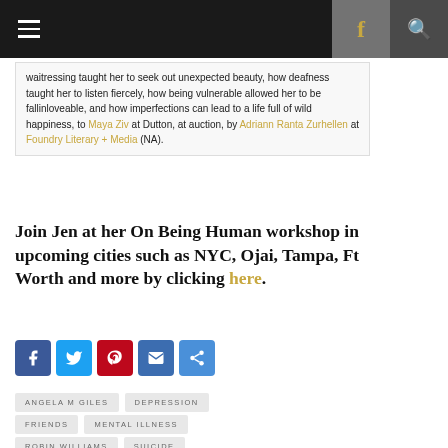Navigation bar with hamburger menu, Facebook icon, and search icon
waitressing taught her to seek out unexpected beauty, how deafness taught her to listen fiercely, how being vulnerable allowed her to be fallinloveable, and how imperfections can lead to a life full of wild happiness, to Maya Ziv at Dutton, at auction, by Adriann Ranta Zurhellen at Foundry Literary + Media (NA).
Join Jen at her On Being Human workshop in upcoming cities such as NYC, Ojai, Tampa, Ft Worth and more by clicking here.
[Figure (infographic): Social share buttons: Facebook, Twitter, Pinterest, Email, Share]
ANGELA M GILES
DEPRESSION
FRIENDS
MENTAL ILLNESS
ROBIN WILLIAMS
SUICIDE
SURVIVAL